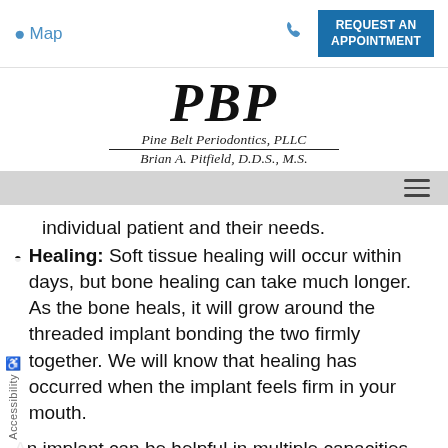Map | REQUEST AN APPOINTMENT
[Figure (logo): PBP Pine Belt Periodontics, PLLC logo with Brian A. Pitfield, D.D.S., M.S.]
individual patient and their needs.
Healing: Soft tissue healing will occur within days, but bone healing can take much longer. As the bone heals, it will grow around the threaded implant bonding the two firmly together. We will know that healing has occurred when the implant feels firm in your mouth.
An implant can be helpful in multiple capacities.
It can serve as one anchor, two anchors, or